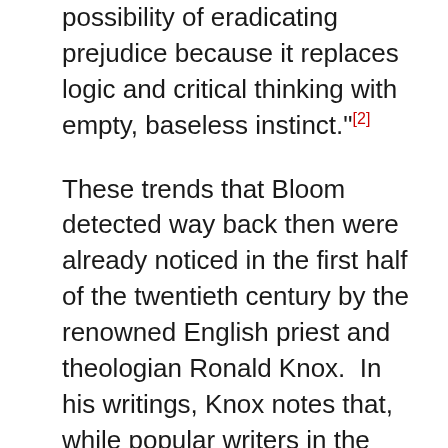possibility of eradicating prejudice because it replaces logic and critical thinking with empty, baseless instinct."[2]
These trends that Bloom detected way back then were already noticed in the first half of the twentieth century by the renowned English priest and theologian Ronald Knox. In his writings, Knox notes that, while popular writers in the 20th century were always saying that the western world had moved from the age of faith to the age of science, in reality the discussion of public issues had in fact entered into the age of assertion. To paraphrase his thought: